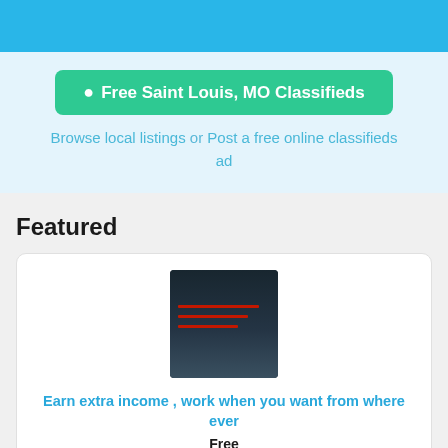Free Saint Louis, MO Classifieds
Browse local listings or Post a free online classifieds ad
Featured
[Figure (photo): Dark colored product image with red horizontal lines on a dark navy background]
Earn extra income , work when you want from where ever
Free
Jamaica, NY